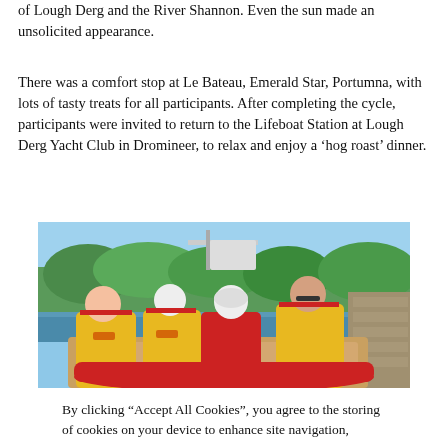of Lough Derg and the River Shannon. Even the sun made an unsolicited appearance.
There was a comfort stop at Le Bateau, Emerald Star, Portumna, with lots of tasty treats for all participants. After completing the cycle, participants were invited to return to the Lifeboat Station at Lough Derg Yacht Club in Dromineer, to relax and enjoy a ‘hog roast’ dinner.
[Figure (photo): Four RNLI crew members in yellow and red life jackets and helmets sitting in an inflatable lifeboat on a calm waterway, with green trees and a stone wall in the background under a blue sky.]
By clicking “Accept All Cookies”, you agree to the storing of cookies on your device to enhance site navigation,